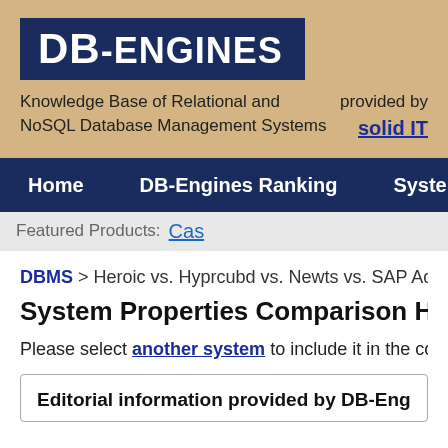[Figure (logo): DB-Engines logo: white bold text 'DB-ENGINES' on dark navy blue background]
Knowledge Base of Relational and NoSQL Database Management Systems   provided by solid IT
Home   DB-Engines Ranking   Systems
Featured Products: Cas...
DBMS > Heroic vs. Hyprcubd vs. Newts vs. SAP Advanta...
System Properties Comparison Heroi...
Please select another system to include it in the compari...
Editorial information provided by DB-Engi...